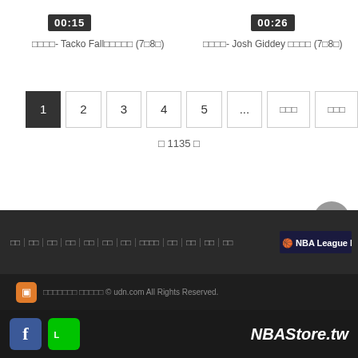00:15
00:26
□□□□- Tacko Fall□□□□□ (7□8□)
□□□□- Josh Giddey □□□□ (7□8□)
1 2 3 4 5 ... □□□ □□□
□ 1135 □
□□ □□ □□ □□ □□ □□ □□ □□□□ □□ □□ □□ □□ NBA League Pass
□□□□□□□ □□□□□ © udn.com All Rights Reserved.
NBAStore.tw